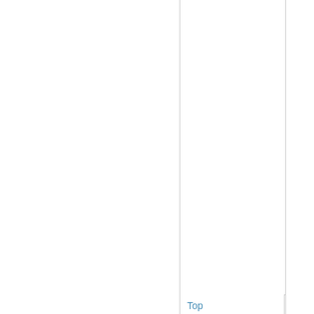Top
Sun, 04/27/2014 - 17:55
Ecarots
Offline
Joined: 08/23/2013
spices
salt
pepper
sugar
tea
coffee
rum